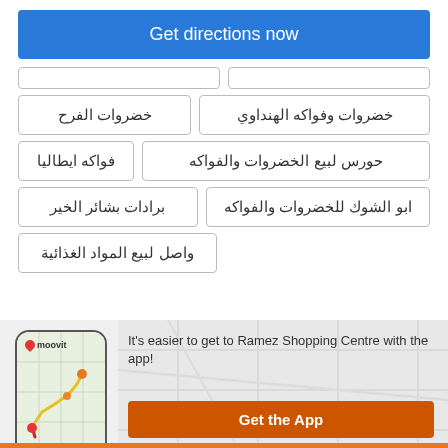Get directions now
خضروات الفرح
خضروات وفواكه الهنداوي
فواكه ايطاليا
حورس لبيع الخضروات والفواكه
برادات بشائر الخير
ابو الشوك للخضروات والفواكه
واصل لبيع المواد الغذائية
It's easier to get to Ramez Shopping Centre with the app!
Get the App